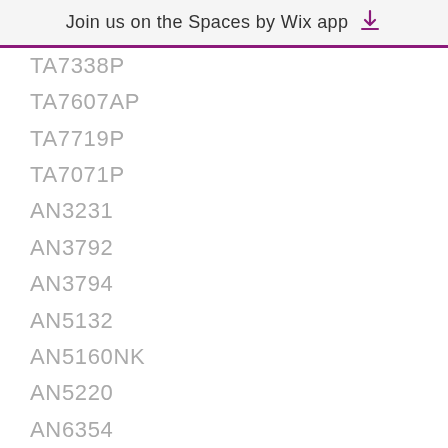Join us on the Spaces by Wix app
TA7338P
TA7607AP
TA7719P
TA7071P
AN3231
AN3792
AN3794
AN5132
AN5160NK
AN5220
AN6354
AN6550
AN7116
AN7130
AN7135
AN7148
AN7168
AN7227
AN8377